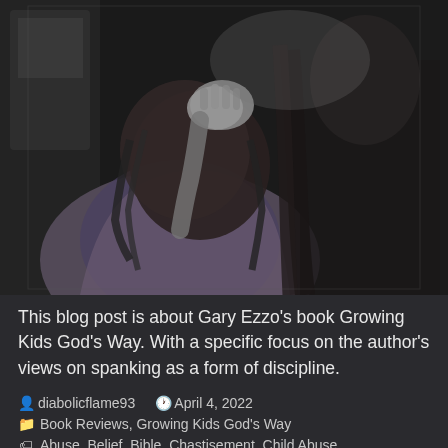[Figure (photo): Black and white photograph of a young child with curly hair, head bowed, hands clasped together as if praying or distressed, with an adult figure visible behind them.]
This blog post is about Gary Ezzo's book Growing Kids God's Way. With a specific focus on the author's views on spanking as a form of discipline.
diabolicflame93   April 4, 2022
Book Reviews, Growing Kids God's Way
Abuse, Belief, Bible, Chastisement, Child Abuse,